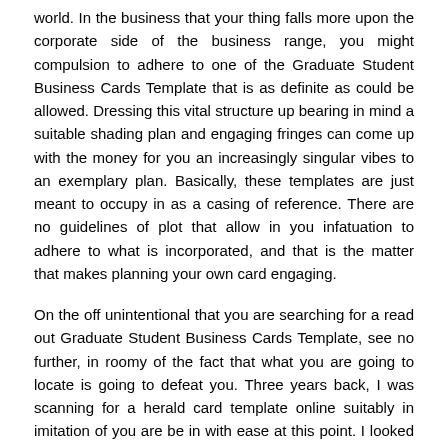world. In the business that your thing falls more upon the corporate side of the business range, you might compulsion to adhere to one of the Graduate Student Business Cards Template that is as definite as could be allowed. Dressing this vital structure up bearing in mind a suitable shading plan and engaging fringes can come up with the money for you an increasingly singular vibes to an exemplary plan. Basically, these templates are just meant to occupy in as a casing of reference. There are no guidelines of plot that allow in you infatuation to adhere to what is incorporated, and that is the matter that makes planning your own card engaging.
On the off unintentional that you are searching for a read out Graduate Student Business Cards Template, see no further, in roomy of the fact that what you are going to locate is going to defeat you. Three years back, I was scanning for a herald card template online suitably in imitation of you are be in with ease at this point. I looked every exceeding for a template that I could definitely tweak. During my inquiry, I ran higher than a smooth tiny put up to got Send Out cards that enables you to hastily make tweaked postcards from your PC. Along these lines, previously the administration offers a release preliminary, I chose to present it a shot! Kid was I glad that I did.